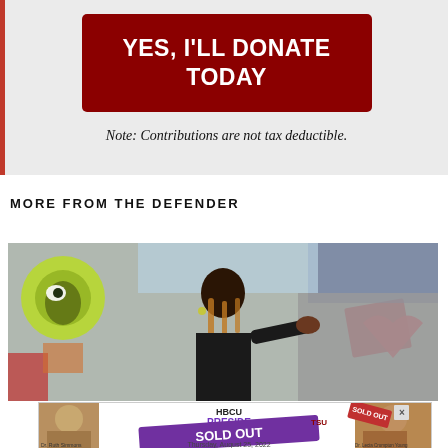[Figure (other): Dark red donate button with white bold text reading YES, I'LL DONATE TODAY on a light gray background with red left border]
Note: Contributions are not tax deductible.
MORE FROM THE DEFENDER
[Figure (photo): A woman touching a colorful graffiti mural wall with heart and other designs]
[Figure (infographic): HBCU Presidents advertisement banner with SOLD OUT overlay, featuring Dr. Ruth Simmons and Dr. Lecia Crumpton Young, Thursday August 25 2022]